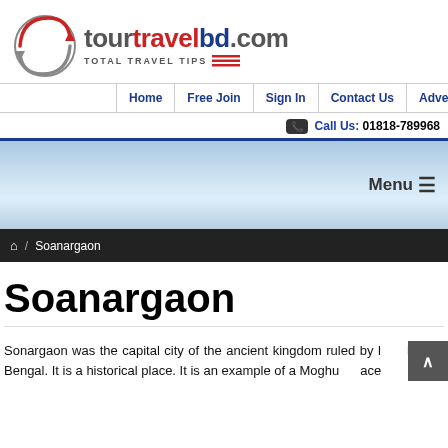[Figure (logo): tourtravelbd.com logo with circular arrow icon and tagline TOTAL TRAVEL TIPS]
Home | Free Join | Sign In | Contact Us | Advertise
Call Us: 01818-789968
[Figure (other): Light blue gradient banner area with Menu hamburger icon on the right]
🏠 / Soanargaon
Soanargaon
Sonargaon was the capital city of the ancient kingdom ruled by han of Bengal. It is a historical place. It is an example of a Moghu ace